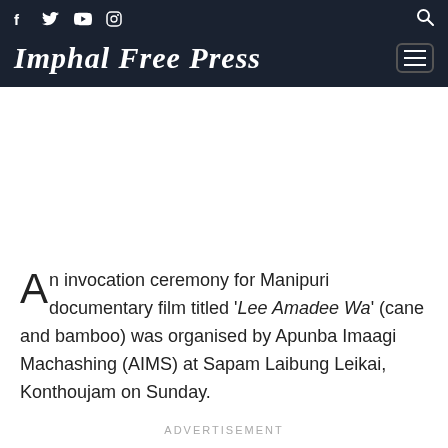Imphal Free Press
An invocation ceremony for Manipuri documentary film titled ‘Lee Amadee Wa’ (cane and bamboo) was organised by Apunba Imaagi Machashing (AIMS) at Sapam Laibung Leikai, Konthoujam on Sunday.
ADVERTISEMENT